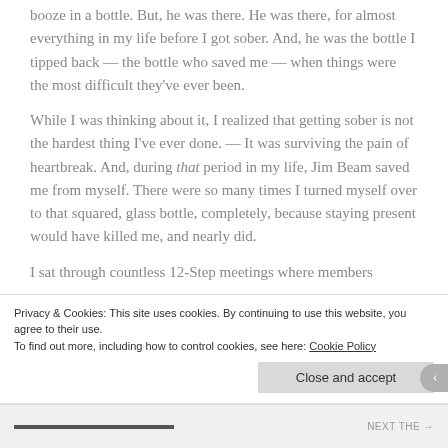booze in a bottle. But, he was there. He was there, for almost everything in my life before I got sober. And, he was the bottle I tipped back — the bottle who saved me — when things were the most difficult they've ever been.
While I was thinking about it, I realized that getting sober is not the hardest thing I've ever done. — It was surviving the pain of heartbreak. And, during that period in my life, Jim Beam saved me from myself. There were so many times I turned myself over to that squared, glass bottle, completely, because staying present would have killed me, and nearly did.
I sat through countless 12-Step meetings where members
Privacy & Cookies: This site uses cookies. By continuing to use this website, you agree to their use.
To find out more, including how to control cookies, see here: Cookie Policy
Close and accept